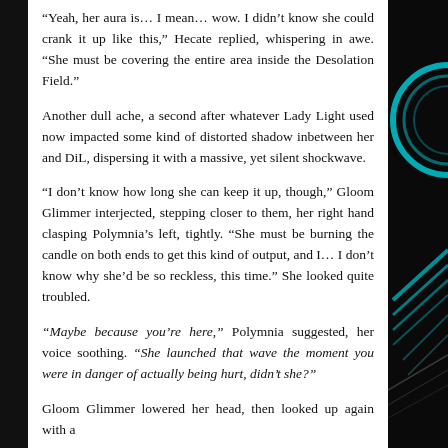“Yeah, her aura is… I mean… wow. I didn’t know she could crank it up like this,” Hecate replied, whispering in awe. “She must be covering the entire area inside the Desolation Field.”
Another dull ache, a second after whatever Lady Light used now impacted some kind of distorted shadow inbetween her and DiL, dispersing it with a massive, yet silent shockwave.
“I don’t know how long she can keep it up, though,” Gloom Glimmer interjected, stepping closer to them, her right hand clasping Polymnia’s left, tightly. “She must be burning the candle on both ends to get this kind of output, and I… I don’t know why she’d be so reckless, this time.” She looked quite troubled.
“Maybe because you’re here,” Polymnia suggested, her voice soothing. “She launched that wave the moment you were in danger of actually being hurt, didn’t she?”
Gloom Glimmer lowered her head, then looked up again with a